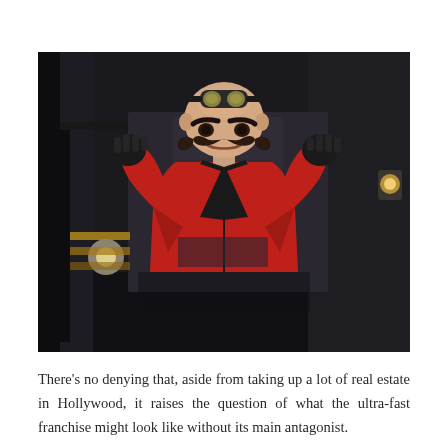[Figure (photo): A man dressed as Dr. Eggman (villain from Sonic the Hedgehog) wearing a red and black jumpsuit, black gloves, goggles on his forehead, and a large curled mustache. He is posing menacingly in what appears to be a grand indoor hall or station with warm lighting.]
There’s no denying that, aside from taking up a lot of real estate in Hollywood, it raises the question of what the ultra-fast franchise might look like without its main antagonist.